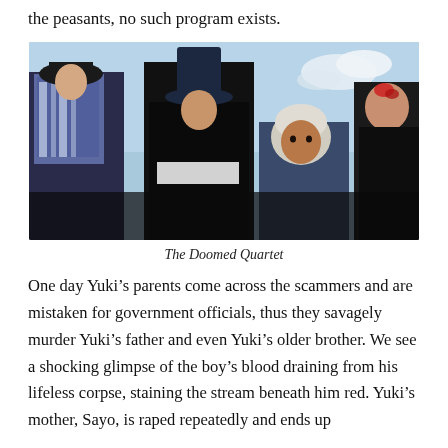the peasants, no such program exists.
[Figure (photo): Four figures in period costumes photographed from below against a blue sky. From left: a woman in a blue and white kimono with a dark hat; a tall man in black with a wide-brimmed hat; a man in a white headscarf; and an older figure on the far right with a red mark on the head.]
The Doomed Quartet
One day Yuki’s parents come across the scammers and are mistaken for government officials, thus they savagely murder Yuki’s father and even Yuki’s older brother. We see a shocking glimpse of the boy’s blood draining from his lifeless corpse, staining the stream beneath him red. Yuki’s mother, Sayo, is raped repeatedly and ends up